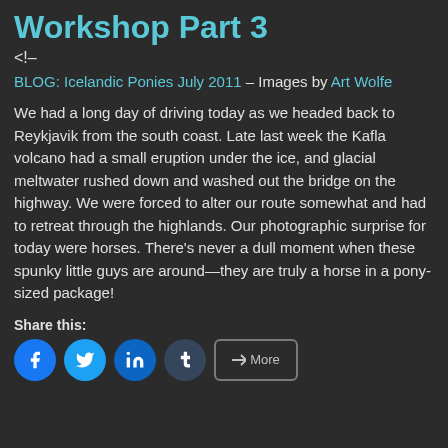Workshop Part 3
<!–
BLOG: Icelandic Ponies July 2011 – Images by Art Wolfe
We had a long day of driving today as we headed back to Reykjavik from the south coast. Late last week the Kafla volcano had a small eruption under the ice, and glacial meltwater rushed down and washed out the bridge on the highway. We were forced to alter our route somewhat and had to retreat through the highlands. Our photographic surprise for today were horses. There's never a dull moment when these spunky little guys are around—they are truly a horse in a pony-sized package!
Share this:
[Figure (infographic): Social share buttons: Facebook, Twitter, LinkedIn, Tumblr, and a More button]